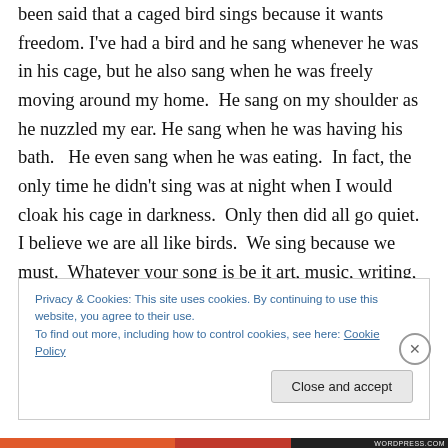been said that a caged bird sings because it wants freedom. I've had a bird and he sang whenever he was in his cage, but he also sang when he was freely moving around my home.  He sang on my shoulder as he nuzzled my ear. He sang when he was having his bath.   He even sang when he was eating.  In fact, the only time he didn't sing was at night when I would cloak his cage in darkness.  Only then did all go quiet.  I believe we are all like birds.  We sing because we must.  Whatever your song is be it art, music, writing, cleaning, building things, dancing, speaking, etc. it is something that you MUST do.  A deep
Privacy & Cookies: This site uses cookies. By continuing to use this website, you agree to their use.
To find out more, including how to control cookies, see here: Cookie Policy